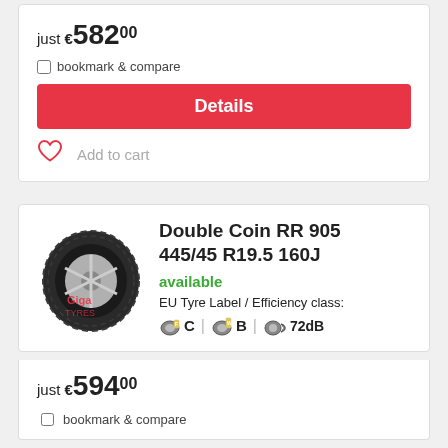just €582.00
bookmark & compare
Details
Add to cart
Double Coin RR 905 445/45 R19.5 160J
available
EU Tyre Label / Efficiency class:
C  B  72dB
just €594.00
bookmark & compare